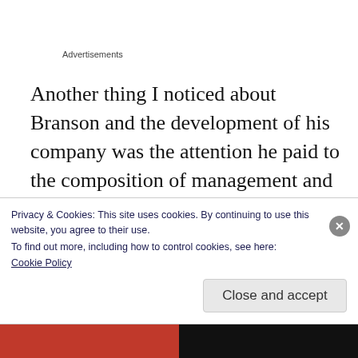Advertisements
Another thing I noticed about Branson and the development of his company was the attention he paid to the composition of management and owners and his dedication to weeding out those who were not good fits in a charitable way. Channeling the “best owner” principle,
Privacy & Cookies: This site uses cookies. By continuing to use this website, you agree to their use.
To find out more, including how to control cookies, see here:
Cookie Policy
Close and accept